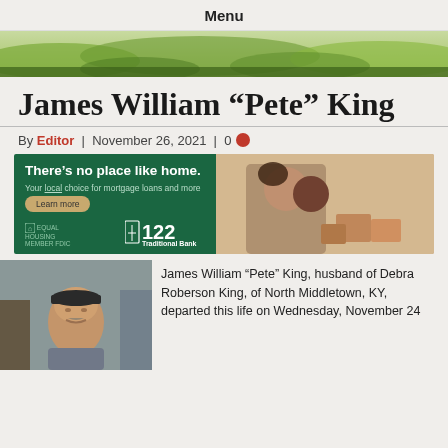Menu
[Figure (photo): Green grass/lawn hero image banner]
James William “Pete” King
By Editor | November 26, 2021 | 0
[Figure (infographic): Traditional Bank advertisement: There’s no place like home. Your local choice for mortgage loans and more. Learn more button. 122 Traditional Bank logo. Photo of couple hugging with moving boxes.]
[Figure (photo): Photograph of James William Pete King, an older man wearing a cap]
James William “Pete” King, husband of Debra Roberson King, of North Middletown, KY, departed this life on Wednesday, November 24